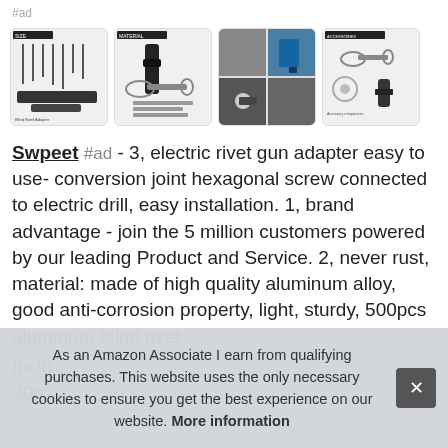#ad
[Figure (photo): Four product images showing electric rivet gun adapter parts, materials, usage with electric drill, and accessory components]
Swpeet #ad - 3, electric rivet gun adapter easy to use- conversion joint hexagonal screw connected to electric drill, easy installation. 1, brand advantage - join the 5 million customers powered by our leading Product and Service. 2, never rust, material: made of high quality aluminum alloy, good anti-corrosion property, light, sturdy, 500pcs aluminum blind rivet
Inclu 30p
As an Amazon Associate I earn from qualifying purchases. This website uses the only necessary cookies to ensure you get the best experience on our website. More information